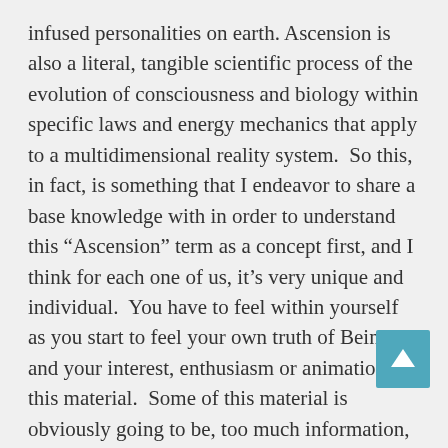infused personalities on earth. Ascension is also a literal, tangible scientific process of the evolution of consciousness and biology within specific laws and energy mechanics that apply to a multidimensional reality system.  So this, in fact, is something that I endeavor to share a base knowledge with in order to understand this “Ascension” term as a concept first, and I think for each one of us, it’s very unique and individual.  You have to feel within yourself as you start to feel your own truth of Being and your interest, enthusiasm or animation to this material.  Some of this material is obviously going to be, too much information, for many people in this ascension wave.  However, those of us that usually make it this far on the Ascension path are here because we are the ones that endeavor to hold